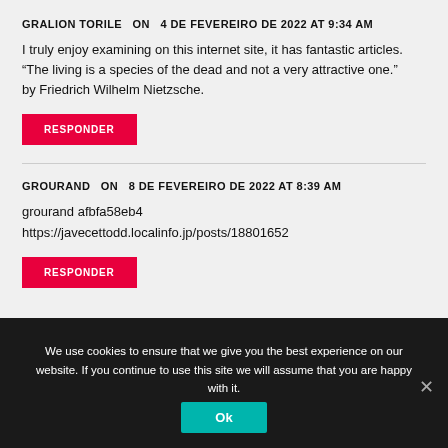GRALION TORILE   ON   4 DE FEVEREIRO DE 2022 AT 9:34 AM
I truly enjoy examining on this internet site, it has fantastic articles. “The living is a species of the dead and not a very attractive one.” by Friedrich Wilhelm Nietzsche.
RESPONDER
GROURAND   ON   8 DE FEVEREIRO DE 2022 AT 8:39 AM
grourand afbfa58eb4
https://javecettodd.localinfo.jp/posts/18801652
RESPONDER
We use cookies to ensure that we give you the best experience on our website. If you continue to use this site we will assume that you are happy with it.
Ok